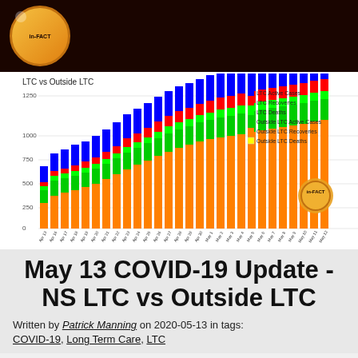[Figure (logo): in-FACT logo: orange circle with dark text on dark brown background header]
[Figure (stacked-bar-chart): LTC vs Outside LTC]
May 13 COVID-19 Update - NS LTC vs Outside LTC
Written by Patrick Manning on 2020-05-13 in tags: COVID-19, Long Term Care, LTC